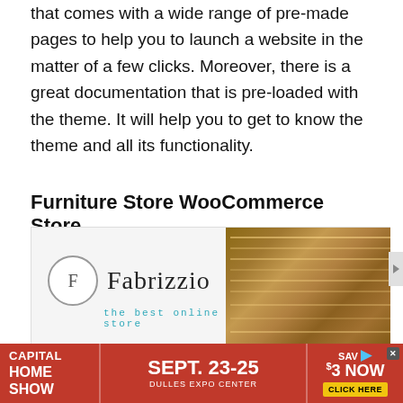that comes with a wide range of pre-made pages to help you to launch a website in the matter of a few clicks. Moreover, there is a great documentation that is pre-loaded with the theme. It will help you to get to know the theme and all its functionality.
Furniture Store WooCommerce Store
[Figure (screenshot): Fabrizzio furniture store website screenshot showing logo with circular F emblem, brand name 'Fabrizzio' with tagline 'the best online store', wood texture image on right, and a browser bar at bottom]
[Figure (infographic): Advertisement banner for Capital Home Show, Sept. 23-25, Dulles Expo Center, Save $3 Now, Click Here]